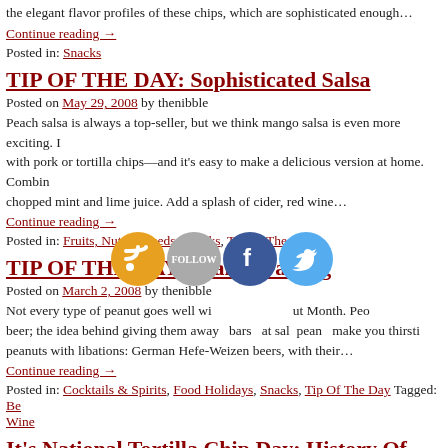the elegant flavor profiles of these chips, which are sophisticated enough…
Continue reading →
Posted in: Snacks
TIP OF THE DAY: Sophisticated Salsa
Posted on May 29, 2008 by thenibble
Peach salsa is always a top-seller, but we think mango salsa is even more exciting. It pairs well with pork or tortilla chips—and it's easy to make a delicious version at home. Combine chopped mint and lime juice. Add a splash of cider, red wine…
Continue reading →
Posted in: Fruits, Nuts & Seeds, Snacks, Tip Of The Day
TIP OF THE DAY: Peanut Pairing
Posted on March 2, 2008 by thenibble
Not every type of peanut goes well with… ut Month. Peo beer; the idea behind giving them away bars that salt peanuts make you thirstie peanuts with libations: German Hefe-Weizen beers, with their…
Continue reading →
Posted in: Cocktails & Spirits, Food Holidays, Snacks, Tip Of The Day Tagged: Be Wine
It's National Tortilla Chip Day: History Of Tortilla Chips
Posted on February 24, 2008 by thenibble
[1] Tortilla chips are made with yellow, white and blue corn. Riding the whole grain…